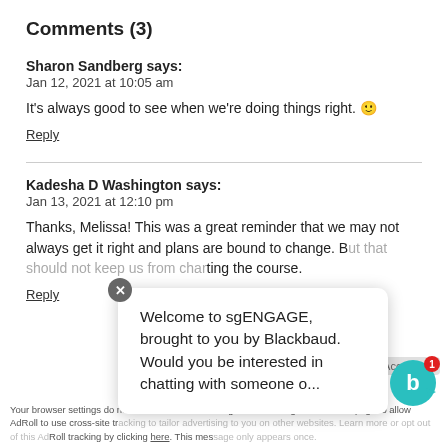Comments (3)
Sharon Sandberg says:
Jan 12, 2021 at 10:05 am
It's always good to see when we're doing things right. 🙂
Reply
Kadesha D Washington says:
Jan 13, 2021 at 12:10 pm
Thanks, Melissa! This was a great reminder that we may not always get it right and plans are bound to change. But that should not keep us from charting the course.
Reply
[Figure (infographic): Chat popup from sgENGAGE/Blackbaud: 'Welcome to sgENGAGE, brought to you by Blackbaud. Would you be interested in chatting with someone o...' with a close button (X) and the Blackbaud bot icon with a red notification badge showing 1]
Your browser settings do not allow cross-site tracking for advertising. Click on this page to allow AdRoll to use cross-site tracking to tailor advertising to you on other websites. Learn more or opt out of this AdRoll tracking by clicking here. This message only appears once.